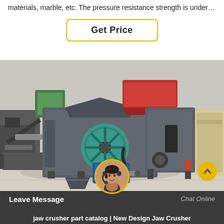materials, marble, etc. The pressure resistance strength is under…
Get Price
[Figure (photo): Industrial jaw crusher machinery displayed in a warehouse setting. Multiple crushing machines visible including a large jaw crusher with blue electric motor, teal flywheel, and red-topped hopper feeder. Machines are dark grey/charcoal colored on a concrete floor.]
[Figure (photo): Circular chat avatar showing a woman wearing a headset, with yellow circular border.]
Leave Message
Chat Online
jaw crusher part catalog | New Design Jaw Crusher